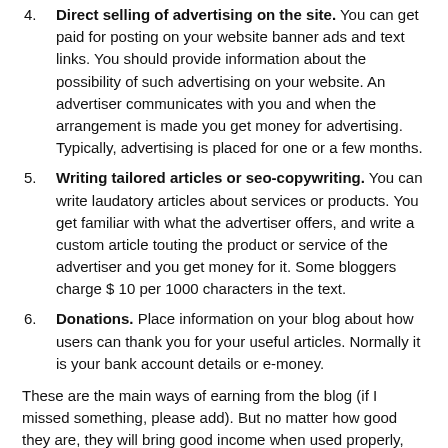Direct selling of advertising on the site. You can get paid for posting on your website banner ads and text links. You should provide information about the possibility of such advertising on your website. An advertiser communicates with you and when the arrangement is made you get money for advertising. Typically, advertising is placed for one or a few months.
Writing tailored articles or seo-copywriting. You can write laudatory articles about services or products. You get familiar with what the advertiser offers, and write a custom article touting the product or service of the advertiser and you get money for it. Some bloggers charge $ 10 per 1000 characters in the text.
Donations. Place information on your blog about how users can thank you for your useful articles. Normally it is your bank account details or e-money.
These are the main ways of earning from the blog (if I missed something, please add). But no matter how good they are, they will bring good income when used properly, and when the website traffic is high. The more visitors you have (traffic), the more